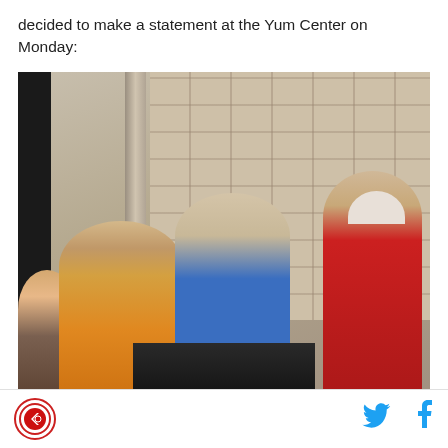decided to make a statement at the Yum Center on Monday:
[Figure (photo): Photo of several people standing in what appears to be an arena corridor or concourse area. A young man in a blue shirt is in the center foreground, with a bearded man behind him on the left making a gesture near his mouth. On the right is a person in a red jacket wearing a white hat. Another person is partially visible on the far left.]
[Figure (logo): Circular logo with red border containing a graphic, possibly a bird or sports mascot, in red on white background]
[Figure (logo): Twitter bird icon in cyan/blue color]
[Figure (logo): Facebook 'f' icon in cyan/blue color]